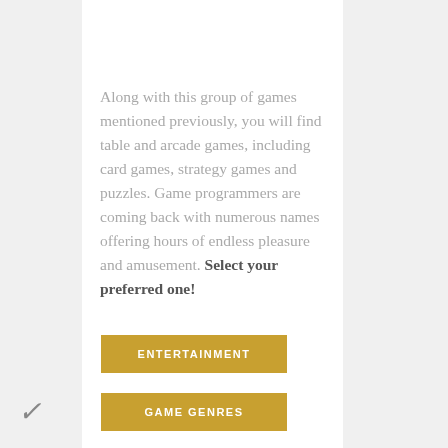[Figure (photo): Top photo strip showing a person in a striped shirt with a device, flanked by dark and golden-colored side panels]
Along with this group of games mentioned previously, you will find table and arcade games, including card games, strategy games and puzzles. Game programmers are coming back with numerous names offering hours of endless pleasure and amusement. Select your preferred one!
[Figure (other): Golden/yellow button labeled ENTERTAINMENT]
[Figure (other): Golden/yellow button labeled GAME GENRES]
✓